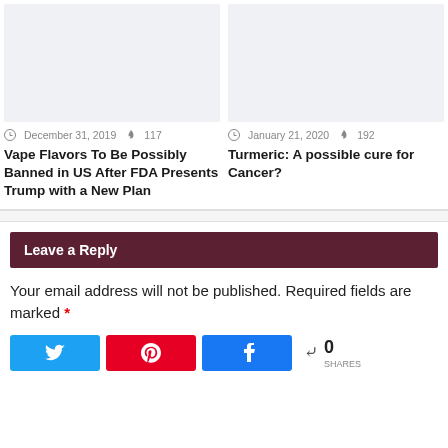[Figure (photo): Placeholder image for article about Vape Flavors ban (light gray background)]
December 31, 2019  117
Vape Flavors To Be Possibly Banned in US After FDA Presents Trump with a New Plan
[Figure (photo): Placeholder image for article about Turmeric and Cancer (light gray background)]
January 21, 2020  192
Turmeric: A possible cure for Cancer?
Leave a Reply
Your email address will not be published. Required fields are marked *